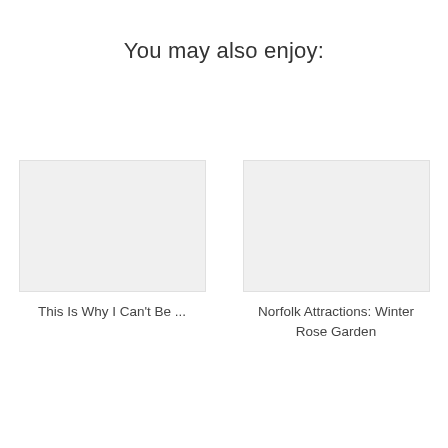You may also enjoy:
This Is Why I Can't Be ...
Norfolk Attractions: Winter Rose Garden